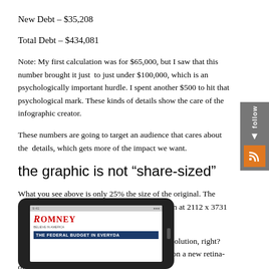New Debt – $35,208
Total Debt – $434,081
Note: My first calculation was for $65,000, but I saw that this number brought it to just to just under $100,000, which is an psychologically important hurdle. I spent another $500 to hit that psychological mark. These kinds of details show the care of the infographic creator.
These numbers are going to target an audience that cares about the details, which gets more of the impact we want.
the graphic is not “share-sized”
What you see above is only 25% the size of the original. The original version is over a megabyte and comes in at 2112 x 3731 resolution. Holy cow.
Everyone knows the new iPad has a monster resolution, right? Here’s how this looks at full resolution on a new retina-display iPad.
[Figure (photo): iPad displaying Romney infographic about The Federal Budget in Everyday Terms]